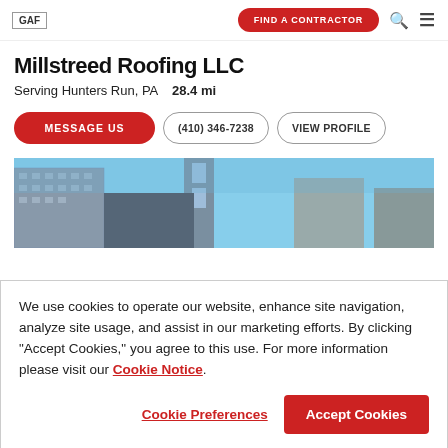GAF | FIND A CONTRACTOR
Millstreed Roofing LLC
Serving Hunters Run, PA   28.4 mi
MESSAGE US | (410) 346-7238 | VIEW PROFILE
[Figure (photo): Building cityscape photo with skyscrapers against a blue sky]
We use cookies to operate our website, enhance site navigation, analyze site usage, and assist in our marketing efforts. By clicking "Accept Cookies," you agree to this use. For more information please visit our Cookie Notice.
Cookie Preferences | Accept Cookies